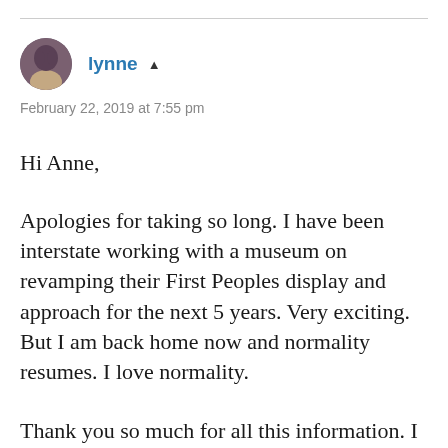[Figure (photo): Circular avatar photo of user lynne, showing a person with gray/brown hair]
lynne ▲
February 22, 2019 at 7:55 pm
Hi Anne,
Apologies for taking so long. I have been interstate working with a museum on revamping their First Peoples display and approach for the next 5 years. Very exciting. But I am back home now and normality resumes. I love normality.
Thank you so much for all this information. I have looked at Martín Prechtel's website. I did not know about